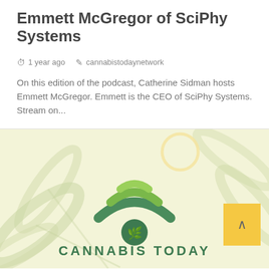Emmett McGregor of SciPhy Systems
1 year ago   cannabistodaynetwork
On this edition of the podcast, Catherine Sidman hosts Emmett McGregor. Emmett is the CEO of SciPhy Systems. Stream on...
[Figure (logo): Cannabis Today Network logo with WiFi-like signal arcs in green and a cannabis leaf icon, overlaid on a light green/yellow background with cannabis leaf silhouettes. Text reads CANNABIS TODAY.]
1 min read